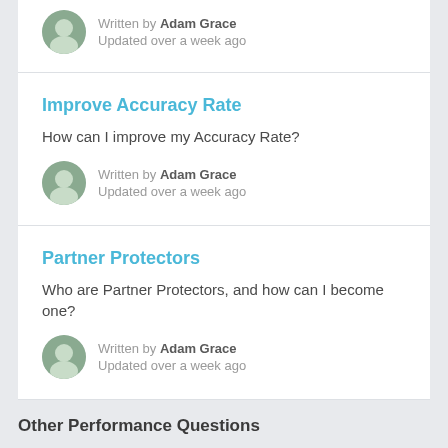Written by Adam Grace
Updated over a week ago
Improve Accuracy Rate
How can I improve my Accuracy Rate?
Written by Adam Grace
Updated over a week ago
Partner Protectors
Who are Partner Protectors, and how can I become one?
Written by Adam Grace
Updated over a week ago
Other Performance Questions